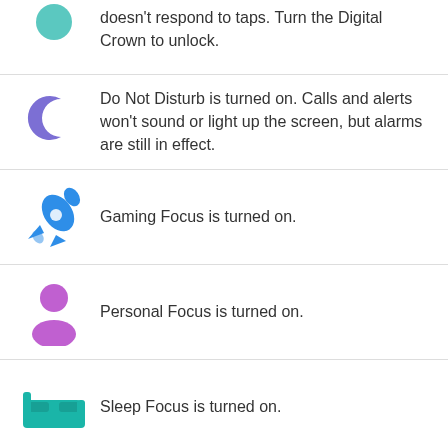doesn't respond to taps. Turn the Digital Crown to unlock.
[Figure (illustration): Purple crescent moon icon representing Do Not Disturb]
Do Not Disturb is turned on. Calls and alerts won't sound or light up the screen, but alarms are still in effect.
[Figure (illustration): Blue rocket icon representing Gaming Focus]
Gaming Focus is turned on.
[Figure (illustration): Purple person/user icon representing Personal Focus]
Personal Focus is turned on.
[Figure (illustration): Teal bed icon representing Sleep Focus]
Sleep Focus is turned on.